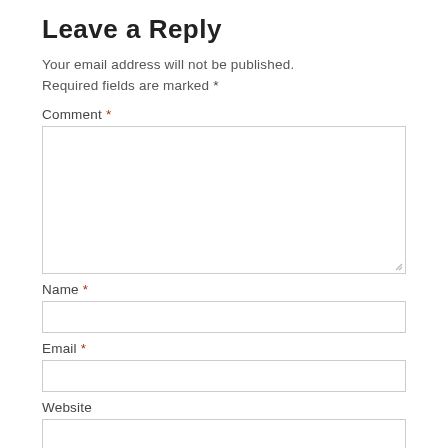Leave a Reply
Your email address will not be published. Required fields are marked *
Comment *
[Figure (screenshot): Empty comment textarea input field]
Name *
[Figure (screenshot): Empty name text input field]
Email *
[Figure (screenshot): Empty email text input field]
Website
[Figure (screenshot): Empty website text input field]
[Figure (screenshot): Post Comment button in dark red]